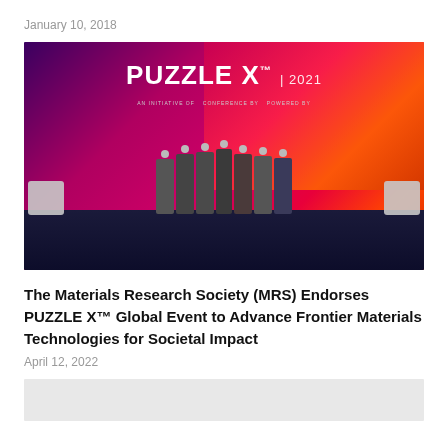January 10, 2018
[Figure (photo): Group of seven people wearing face masks on a stage at PUZZLE X 2021 event, with a large branded backdrop showing 'PUZZLE X TM 2021' in pink/magenta. People stand in a row making a hand gesture together.]
The Materials Research Society (MRS) Endorses PUZZLE X™ Global Event to Advance Frontier Materials Technologies for Societal Impact
April 12, 2022
[Figure (photo): Partially visible next article image (bottom of page, cropped).]